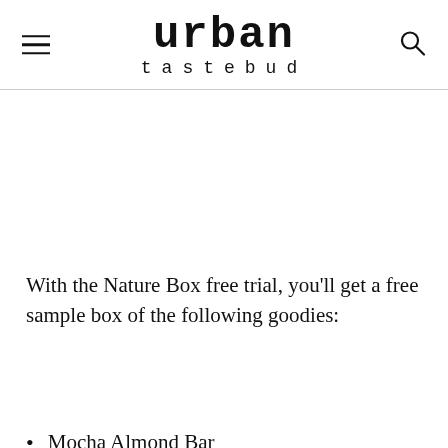urban tastebud
With the Nature Box free trial, you'll get a free sample box of the following goodies:
Mocha Almond Bar
Garlic Plantains